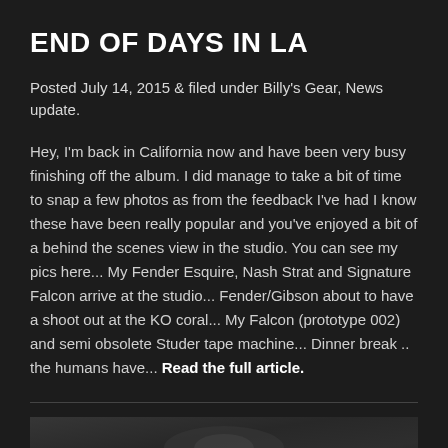END OF DAYS IN LA
Posted July 14, 2015 & filed under Billy's Gear, News update.
Hey, I'm back in California now and have been very busy finishing off the album. I did manage to take a bit of time to snap a few photos as from the feedback I've had I know these have been really popular and you've enjoyed a bit of a behind the scenes view in the studio. You can see my pics here... My Fender Esquire, Nash Strat and Signature Falcon arrive at the studio... Fender/Gibson about to have a shoot out at the KO coral... My Falcon (prototype 002) and semi obsolete Studer tape machine... Dinner break .. the humans have... Read the full article.
[Figure (photo): Black and white photograph partially visible at bottom of page showing a person or studio scene]